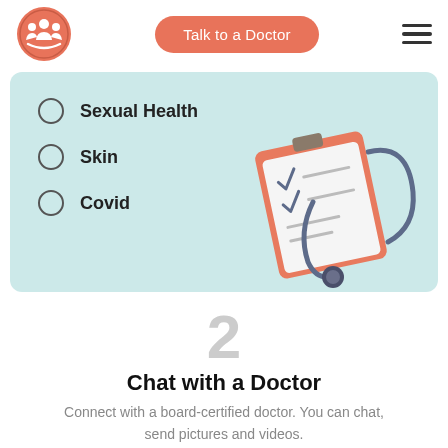[Figure (logo): Healthcare logo: red/coral circle with people silhouettes inside]
Talk to a Doctor
[Figure (illustration): Hamburger menu icon (three horizontal lines)]
Sexual Health
Skin
Covid
[Figure (illustration): Clipboard with checklist and stethoscope illustration]
2
Chat with a Doctor
Connect with a board-certified doctor. You can chat, send pictures and videos.